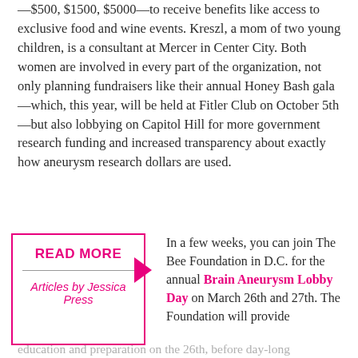—$500, $1500, $5000—to receive benefits like access to exclusive food and wine events. Kreszl, a mom of two young children, is a consultant at Mercer in Center City. Both women are involved in every part of the organization, not only planning fundraisers like their annual Honey Bash gala—which, this year, will be held at Fitler Club on October 5th—but also lobbying on Capitol Hill for more government research funding and increased transparency about exactly how aneurysm research dollars are used.
READ MORE
Articles by Jessica Press
In a few weeks, you can join The Bee Foundation in D.C. for the annual Brain Aneurysm Lobby Day on March 26th and 27th. The Foundation will provide education and preparation on the 26th, before day-long